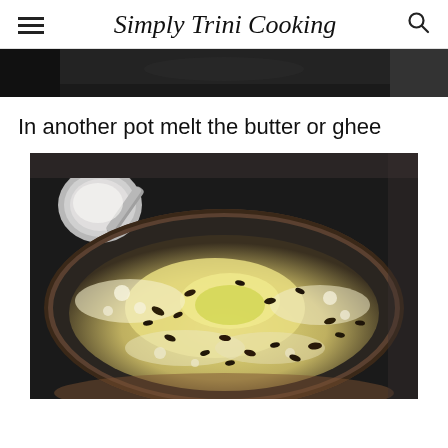Simply Trini Cooking
[Figure (photo): Top portion of a dark cooking pot, partially cropped at top of page]
In another pot melt the butter or ghee
[Figure (photo): A dark frying pan with melted butter or ghee bubbling, with small dark seeds scattered throughout, and a metal ladle/spoon visible at the top left]